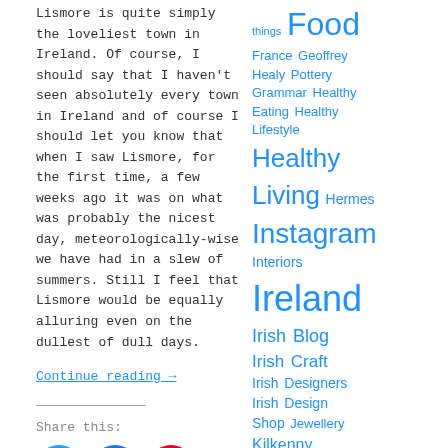Lismore is quite simply the loveliest town in Ireland. Of course, I should say that I haven't seen absolutely every town in Ireland and of course I should let you know that when I saw Lismore, for the first time, a few weeks ago it was on what was probably the nicest day, meteorologically-wise we have had in a slew of summers. Still I feel that Lismore would be equally alluring even on the dullest of dull days.
Continue reading →
Share this:
[Figure (other): Social share icons: Twitter (blue circle), Facebook (blue circle), Pinterest (red circle)]
things Food France Geoffrey Healy Pottery Grammar Healthy Eating Healthy Lifestyle Healthy Living Hermes Instagram Interiors Ireland Irish Blog Irish Craft Irish Designers Irish Design Shop Jewellery Kilkenny Kilruddery House London London Cafes Miscellaneous Musings Musings